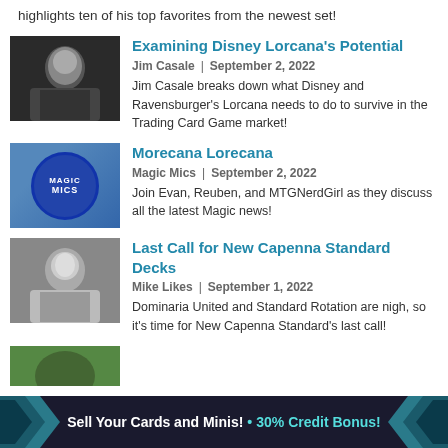highlights ten of his top favorites from the newest set!
[Figure (photo): Thumbnail photo of Jim Casale]
Examining Disney Lorcana's Potential
Jim Casale  |  September 2, 2022
Jim Casale breaks down what Disney and Ravensburger's Lorcana needs to do to survive in the Trading Card Game market!
[Figure (logo): Magic Mics logo - circular blue logo]
Morecana Lorecana
Magic Mics  |  September 2, 2022
Join Evan, Reuben, and MTGNerdGirl as they discuss all the latest Magic news!
[Figure (photo): Thumbnail photo of Mike Likes]
Last Call for New Capenna Standard Decks
Mike Likes  |  September 1, 2022
Dominaria United and Standard Rotation are nigh, so it's time for New Capenna Standard's last call!
[Figure (photo): Partially visible thumbnail at bottom]
Sell Your Cards and Minis! • 30% Credit Bonus!